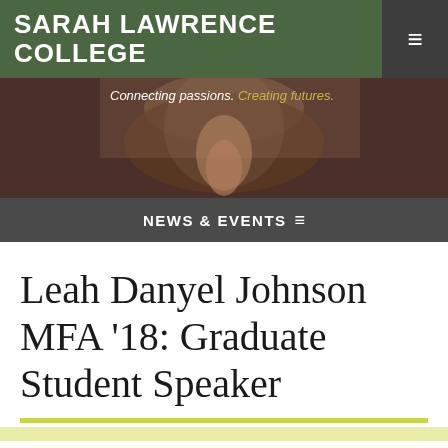SARAH LAWRENCE COLLEGE
[Figure (photo): Background photo showing a person, partially visible, dark tones. Tagline overlaid: 'Connecting passions. Creating futures.']
NEWS & EVENTS ≡
Leah Danyel Johnson MFA '18: Graduate Student Speaker